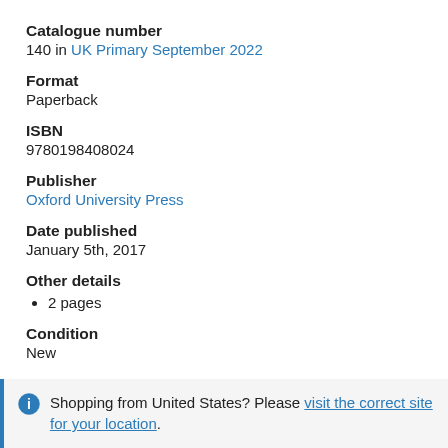Catalogue number
140 in UK Primary September 2022
Format
Paperback
ISBN
9780198408024
Publisher
Oxford University Press
Date published
January 5th, 2017
Other details
2 pages
Condition
New
Shopping from United States? Please visit the correct site for your location.